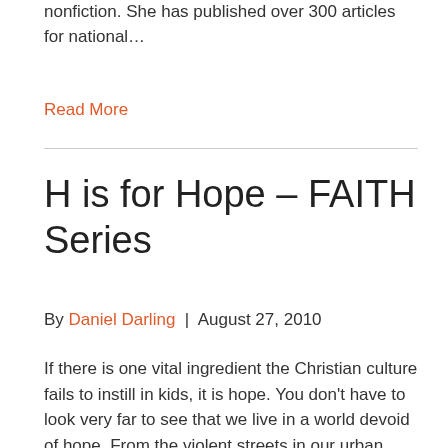nonfiction. She has published over 300 articles for national…
Read More
H is for Hope – FAITH Series
By Daniel Darling  |  August 27, 2010
If there is one vital ingredient the Christian culture fails to instill in kids, it is hope. You don't have to look very far to see that we live in a world devoid of hope. From the violent streets in our urban centers, to the staggering number of children abandoned and orphaned, to the increasing…